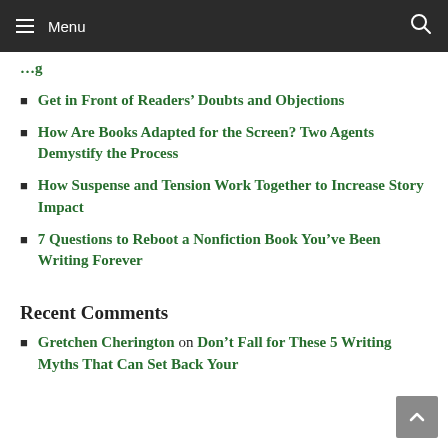Menu
Get in Front of Readers' Doubts and Objections
How Are Books Adapted for the Screen? Two Agents Demystify the Process
How Suspense and Tension Work Together to Increase Story Impact
7 Questions to Reboot a Nonfiction Book You've Been Writing Forever
Recent Comments
Gretchen Cherington on Don't Fall for These 5 Writing Myths That Can Set Back Your